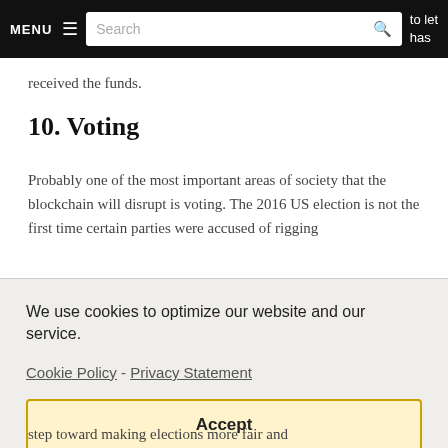MENU  [Search]  to let has
received the funds.
10. Voting
Probably one of the most important areas of society that the blockchain will disrupt is voting. The 2016 US election is not the first time certain parties were accused of rigging
We use cookies to optimize our website and our service.
Cookie Policy - Privacy Statement
Accept
step toward making elections more fair and